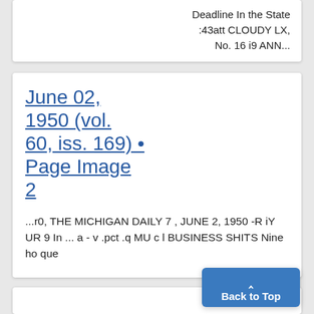Deadline In the State :43att CLOUDY LX, No. 16 i9 ANN...
June 02, 1950 (vol. 60, iss. 169) • Page Image 2
...r0, THE MICHIGAN DAILY 7 , JUNE 2, 1950 -R iY UR 9 In ... a - v .pct .q MU c l BUSINESS SHITS Nine ho ques